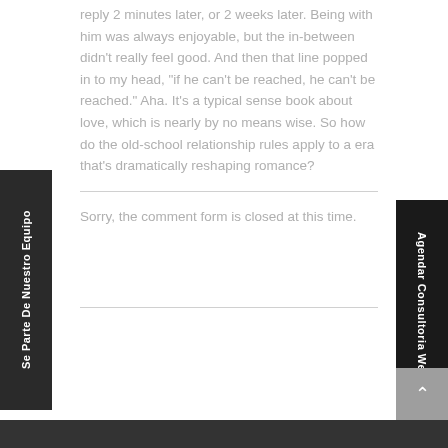reply 2 minutes later, or 2 weeks later. Being with him was always enjoyable, but the in-between didn’t really feel good. And then that line popped in to my head, “if he can’t be reached, he can’t be reached.” Aha. It’s a typical sense book about love, which is nearly by no means wise. So how do the old-school relationship rules apply to a era that’s dramatically reshaping romance?
Sorry, the comment form is closed at this time.
Se Parte De Nuestro Equipo
Agendar Consultoria Web